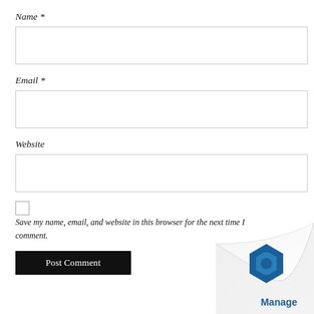Name *
[Figure (other): Empty text input box for Name field]
Email *
[Figure (other): Empty text input box for Email field]
Website
[Figure (other): Empty text input box for Website field]
[Figure (other): Unchecked checkbox]
Save my name, email, and website in this browser for the next time I comment.
[Figure (other): Post Comment button (black background, white text)]
[Figure (logo): Manage Engine logo with page curl effect in bottom right corner]